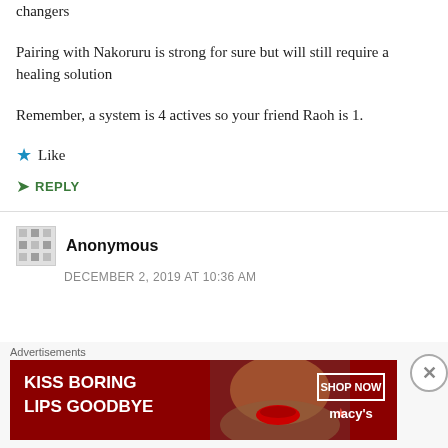changers
Pairing with Nakoruru is strong for sure but will still require a healing solution
Remember, a system is 4 actives so your friend Raoh is 1.
★ Like
➤ REPLY
Anonymous
DECEMBER 2, 2019 AT 10:36 AM
Advertisements
[Figure (illustration): Macy's advertisement banner with dark red background showing a woman's face with red lipstick. Text reads 'KISS BORING LIPS GOODBYE' with a 'SHOP NOW' button and Macy's star logo.]